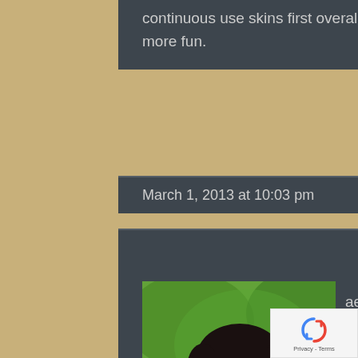continuous use skins first overall you will get more use out of them which should be more fun.
March 1, 2013 at 10:03 pm
#26004
[Figure (photo): Profile photo of a man with dark hair and beard wearing a blue shirt, outdoors with green foliage background]
ael Espina de la sa icipant
I have to agree with Ryan on his advice on playing for your first event. It gives you a better feel for the game and lets you experience what it would be like to truly be your character. While casting is great